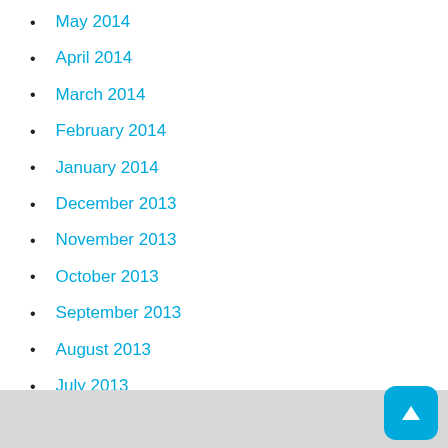May 2014
April 2014
March 2014
February 2014
January 2014
December 2013
November 2013
October 2013
September 2013
August 2013
July 2013